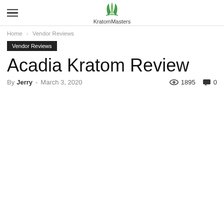KratomMasters
Home › Vendor Reviews
Vendor Reviews
Acadia Kratom Review
By Jerry - March 3, 2020  1895  0